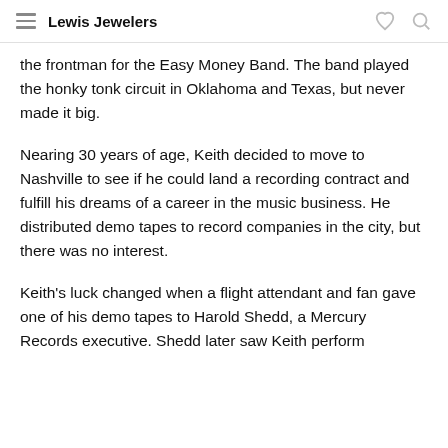Lewis Jewelers
the frontman for the Easy Money Band. The band played the honky tonk circuit in Oklahoma and Texas, but never made it big.
Nearing 30 years of age, Keith decided to move to Nashville to see if he could land a recording contract and fulfill his dreams of a career in the music business. He distributed demo tapes to record companies in the city, but there was no interest.
Keith's luck changed when a flight attendant and fan gave one of his demo tapes to Harold Shedd, a Mercury Records executive. Shedd later saw Keith perform